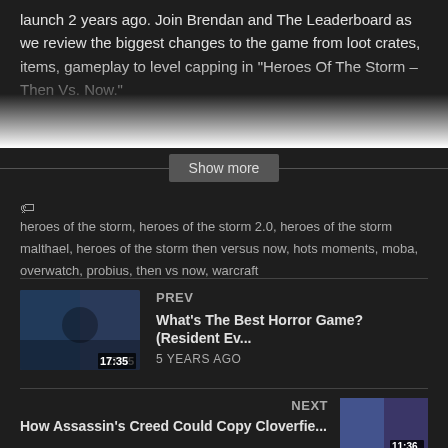launch 2 years ago. Join Brendan and The Leaderboard as we review the biggest changes to the game from loot crates, items, gameplay to level capping in “Heroes Of The Storm – Then Vs. Now.”
Show more
heroes of the storm, heroes of the storm 2.0, heroes of the storm malthael, heroes of the storm then versus now, hots moments, moba, overwatch, probius, then vs now, warcraft
PREV
[Figure (screenshot): Thumbnail image for a video with duration 17:35]
What's The Best Horror Game? (Resident Ev...
5 YEARS AGO
NEXT
How Assassin's Creed Could Copy Cloverfie...
[Figure (screenshot): Thumbnail image for a video with duration 11:36]